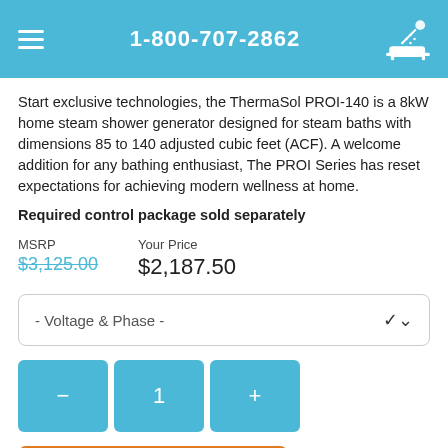1-800-707-2862
Start exclusive technologies, the ThermaSol PROI-140 is a 8kW home steam shower generator designed for steam baths with dimensions 85 to 140 adjusted cubic feet (ACF). A welcome addition for any bathing enthusiast, The PROI Series has reset expectations for achieving modern wellness at home.
Required control package sold separately
MSRP $3,125.00  Your Price $2,187.50
- Voltage & Phase -
−  1  +
Add to cart